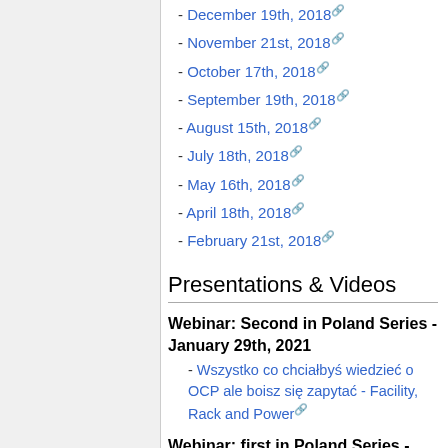- December 19th, 2018
- November 21st, 2018
- October 17th, 2018
- September 19th, 2018
- August 15th, 2018
- July 18th, 2018
- May 16th, 2018
- April 18th, 2018
- February 21st, 2018
Presentations & Videos
Webinar: Second in Poland Series - January 29th, 2021
- Wszystko co chciałbyś wiedzieć o OCP ale boisz się zapytać - Facility, Rack and Power
Webinar: first in Poland Series - December 4th, 2021